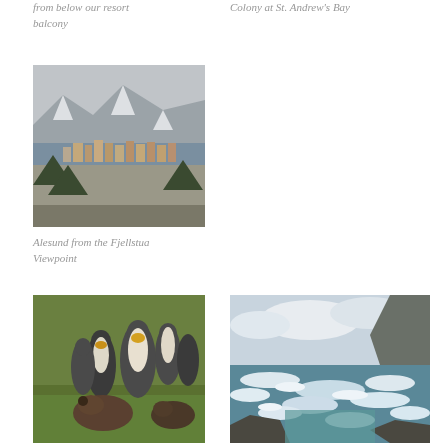from below our resort balcony
Colony at St. Andrew's Bay
[Figure (photo): Aerial view of Alesund city covered in snow with mountains and fjord in background]
Alesund from the Fjellstua Viewpoint
[Figure (photo): King penguins and fur seal pups gathered on green grass]
[Figure (photo): Rough ocean waves crashing against rocky coastline with mountains in background]